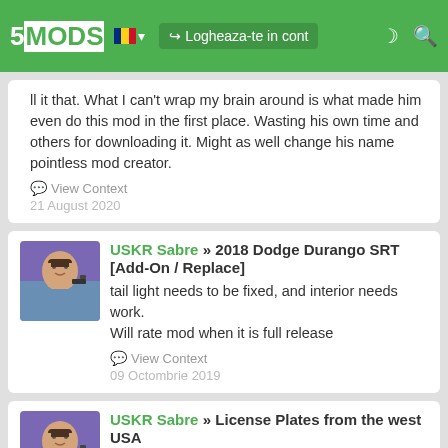5MODS | Logheaza-te in cont
ll it that. What I can't wrap my brain around is what made him even do this mod in the first place. Wasting his own time and others for downloading it. Might as well change his name pointless mod creator.
View Context
21 August 2020
USKR Sabre » 2018 Dodge Durango SRT [Add-On / Replace]
tail light needs to be fixed, and interior needs work.
Will rate mod when it is full release
View Context
09 Octombrie 2019
USKR Sabre » License Plates from the west USA
@koksu1234567890 California Utah and Nevada are both wrong here is proof please fix then will be 5 star! Nevada:
http://www.plateshack.com/y2k/Nevada3/nv2018newbase.jpg
Utah:https://dmv.utah.gov/media/plates/skier.jpg